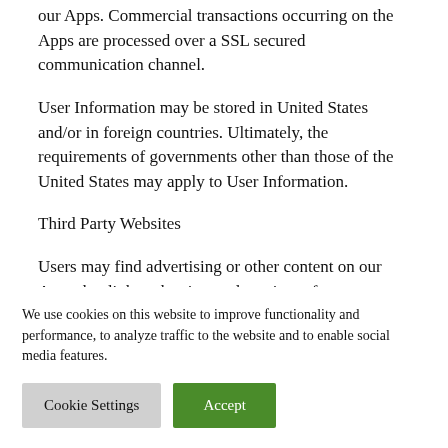our Apps. Commercial transactions occurring on the Apps are processed over a SSL secured communication channel.
User Information may be stored in United States and/or in foreign countries. Ultimately, the requirements of governments other than those of the United States may apply to User Information.
Third Party Websites
Users may find advertising or other content on our Apps that link to the sites and services of our partners, suppliers, advertisers, sponsors, licencors and other
We use cookies on this website to improve functionality and performance, to analyze traffic to the website and to enable social media features.
Cookie Settings | Accept